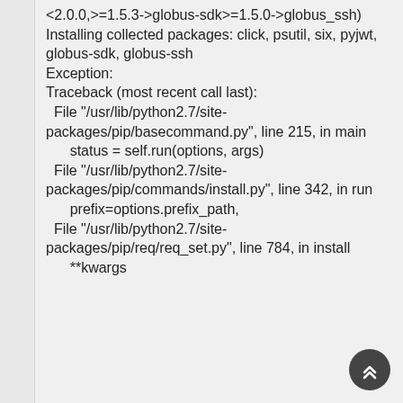<2.0.0,>=1.5.3->globus-sdk>=1.5.0->globus_ssh)
Installing collected packages: click, psutil, six, pyjwt, globus-sdk, globus-ssh
Exception:
Traceback (most recent call last):
  File "/usr/lib/python2.7/site-packages/pip/basecommand.py", line 215, in main
      status = self.run(options, args)
  File "/usr/lib/python2.7/site-packages/pip/commands/install.py", line 342, in run
      prefix=options.prefix_path,
  File "/usr/lib/python2.7/site-packages/pip/req/req_set.py", line 784, in install
      **kwargs